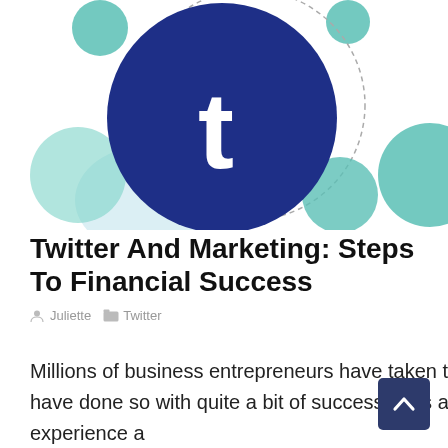[Figure (illustration): Twitter/social media marketing illustration with a large dark blue circle containing a white 't' logo in the center, surrounded by teal and light blue overlapping circles on a white background]
Twitter And Marketing: Steps To Financial Success
Juliette  Twitter
Millions of business entrepreneurs have taken to Twitter to expand their marketing potential and many have done so with quite a bit of success. This article will offer some suggestions to make your Twitter experience a